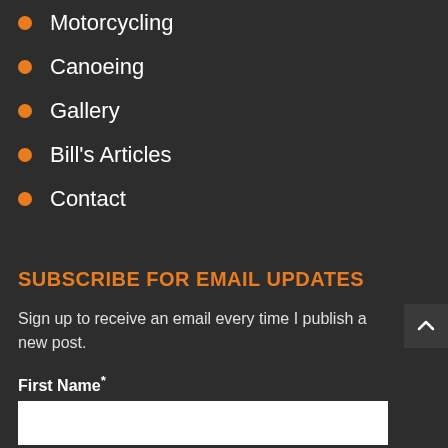Motorcycling
Canoeing
Gallery
Bill's Articles
Contact
SUBSCRIBE FOR EMAIL UPDATES
Sign up to receive an email every time I publish a new post.
First Name*
Email Address*